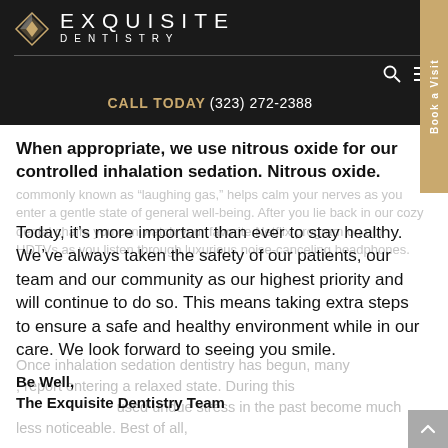[Figure (logo): Exquisite Dentistry logo with diamond icon and text]
CALL TODAY  (323) 272-2388
When appropriate, we use nitrous oxide for our controlled inhalation sedation. Nitrous oxide.
commonly known as “laughing gas,” helps calm your nerves as you enter a gentle state of general well-being. After you lie back in our cozy dental chairs you can watch your favorite Netflix program on our HDTVs as you listen through luxurious noise-canceling headphones.
Today, it’s more important than ever to stay healthy. We’ve always taken the safety of our patients, our team and our community as our highest priority and will continue to do so. This means taking extra steps to ensure a safe and healthy environment while in our care. We look forward to seeing you smile.
Once inhalation sedation dentistry has begun, many
Be Well,
report entering a relaxed state. During this
The Exquisite Dentistry Team
used undue stress in the past become much less noticeable. Best of all,